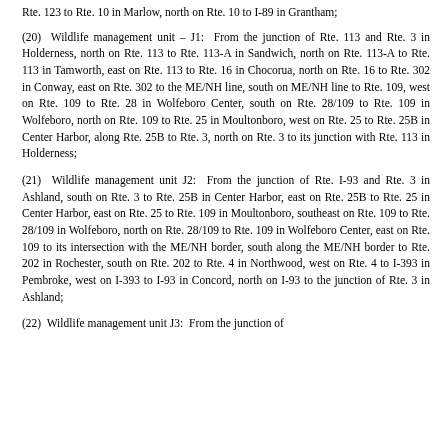Rte. 123 to Rte. 10 in Marlow, north on Rte. 10 to I-89 in Grantham;
(20)  Wildlife management unit – J1:  From the junction of Rte. 113 and Rte. 3 in Holderness, north on Rte. 113 to Rte. 113-A in Sandwich, north on Rte. 113-A to Rte. 113 in Tamworth, east on Rte. 113 to Rte. 16 in Chocorua, north on Rte. 16 to Rte. 302 in Conway, east on Rte. 302 to the ME/NH line, south on ME/NH line to Rte. 109, west on Rte. 109 to Rte. 28 in Wolfeboro Center, south on Rte. 28/109 to Rte. 109 in Wolfeboro, north on Rte. 109 to Rte. 25 in Moultonboro, west on Rte. 25 to Rte. 25B in Center Harbor, along Rte. 25B to Rte. 3, north on Rte. 3 to its junction with Rte. 113 in Holderness;
(21)  Wildlife management unit J2:  From the junction of Rte. I-93 and Rte. 3 in Ashland, south on Rte. 3 to Rte. 25B in Center Harbor, east on Rte. 25B to Rte. 25 in Center Harbor, east on Rte. 25 to Rte. 109 in Moultonboro, southeast on Rte. 109 to Rte. 28/109 in Wolfeboro, north on Rte. 28/109 to Rte. 109 in Wolfeboro Center, east on Rte. 109 to its intersection with the ME/NH border, south along the ME/NH border to Rte. 202 in Rochester, south on Rte. 202 to Rte. 4 in Northwood, west on Rte. 4 to I-393 in Pembroke, west on I-393 to I-93 in Concord, north on I-93 to the junction of Rte. 3 in Ashland;
(22)  Wildlife management unit J3:  From the junction of